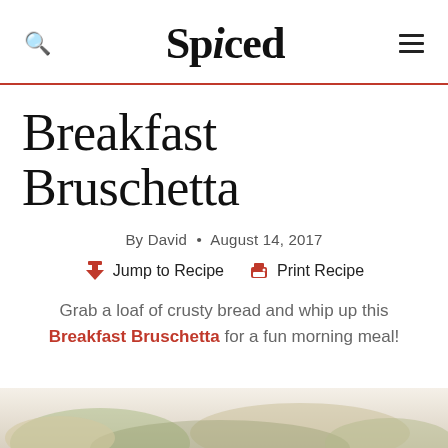Spiced
Breakfast Bruschetta
By David • August 14, 2017
Jump to Recipe  Print Recipe
Grab a loaf of crusty bread and whip up this Breakfast Bruschetta for a fun morning meal!
[Figure (photo): Partial photo of breakfast bruschetta dish at bottom of page]